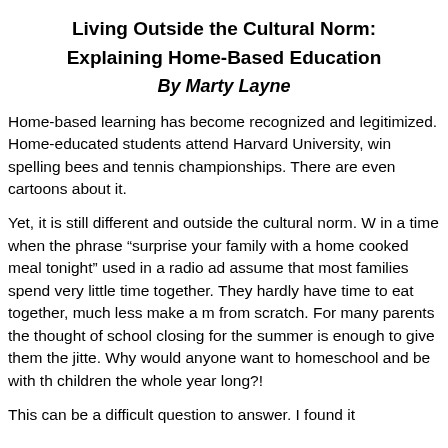Living Outside the Cultural Norm: Explaining Home-Based Education
By Marty Layne
Home-based learning has become recognized and legitimized. Home-educated students attend Harvard University, win spelling bees and tennis championships. There are even cartoons about it.
Yet, it is still different and outside the cultural norm. We in a time when the phrase “surprise your family with a home cooked meal tonight” used in a radio ad assumes that most families spend very little time together. They hardly have time to eat together, much less make a meal from scratch. For many parents the thought of school closing for the summer is enough to give them the jitters. Why would anyone want to homeschool and be with their children the whole year long?!
This can be a difficult question to answer. I found it